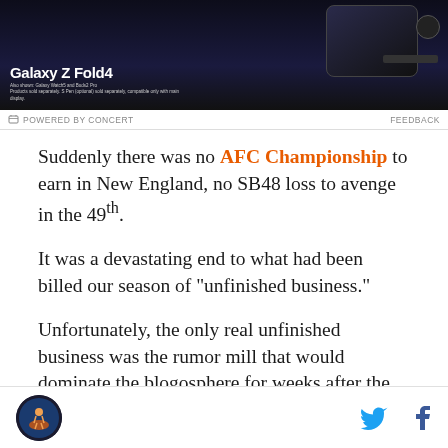[Figure (photo): Samsung Galaxy Z Fold4 advertisement banner with dark background showing the folded phone, smartwatch, earbuds and stylus]
POWERED BY CONCERT   FEEDBACK
Suddenly there was no AFC Championship to earn in New England, no SB48 loss to avenge in the 49th.
It was a devastating end to what had been billed our season of "unfinished business."
Unfortunately, the only real unfinished business was the rumor mill that would dominate the blogosphere for weeks after the season, anticipating your decision whether to stay in football and remain with the Orange and Bl...
Site logo | Twitter icon | Facebook icon